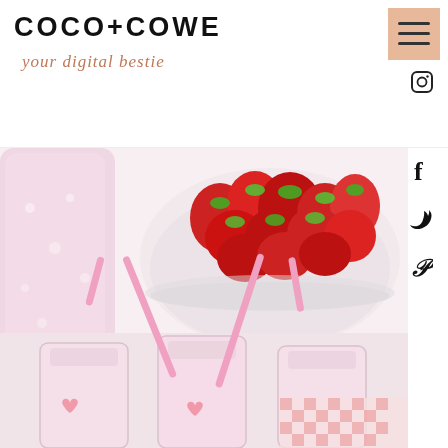COCO+COWE
your digital bestie
[Figure (illustration): Hamburger menu icon in peach/salmon colored square box with Instagram icon below]
[Figure (photo): Strawberry milkshake / smoothie scene: pink mason jar bottle on left, glass bowl full of fresh red strawberries in background, three small mason jar glasses with pink straws in foreground, red and white gingham cloth at bottom right]
[Figure (illustration): Social media icons on right side: Facebook f, Twitter bird, Pinterest p]